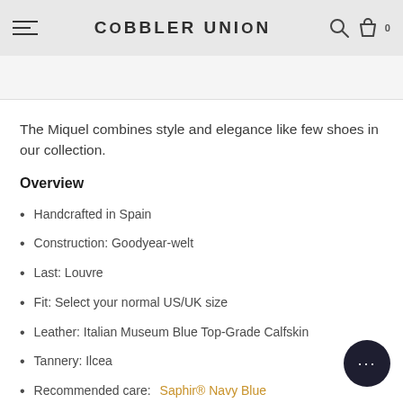COBBLER UNION
The Miquel combines style and elegance like few shoes in our collection.
Overview
Handcrafted in Spain
Construction: Goodyear-welt
Last: Louvre
Fit: Select your normal US/UK size
Leather: Italian Museum Blue Top-Grade Calfskin
Tannery: Ilcea
Recommended care: Saphir® Navy Blue